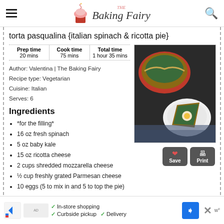The Baking Fairy
torta pasqualina {italian spinach & ricotta pie}
| Prep time | Cook time | Total time |
| --- | --- | --- |
| 20 mins | 75 mins | 1 hour 35 mins |
Author: Valentina | The Baking Fairy
Recipe type: Vegetarian
Cuisine: Italian
Serves: 6
Ingredients
[Figure (photo): Italian spinach and ricotta pie in a red baking dish, with a slice on a white plate showing spinach filling and whole egg]
*for the filling*
16 oz fresh spinach
5 oz baby kale
15 oz ricotta cheese
2 cups shredded mozzarella cheese
½ cup freshly grated Parmesan cheese
10 eggs (5 to mix in and 5 to top the pie)